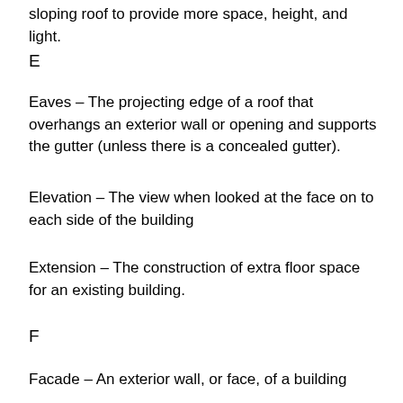sloping roof to provide more space, height, and light.
E
Eaves – The projecting edge of a roof that overhangs an exterior wall or opening and supports the gutter (unless there is a concealed gutter).
Elevation – The view when looked at the face on to each side of the building
Extension – The construction of extra floor space for an existing building.
F
Facade – An exterior wall, or face, of a building